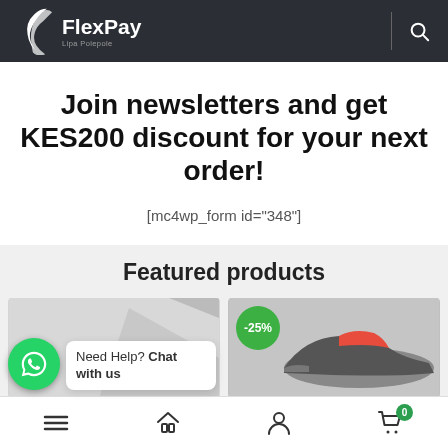[Figure (logo): FlexPay logo on dark header with search icon]
Join newsletters and get KES200 discount for your next order!
[mc4wp_form id="348"]
Featured products
[Figure (photo): Product card with a shoe image and -25% discount badge]
Need Help? Chat with us